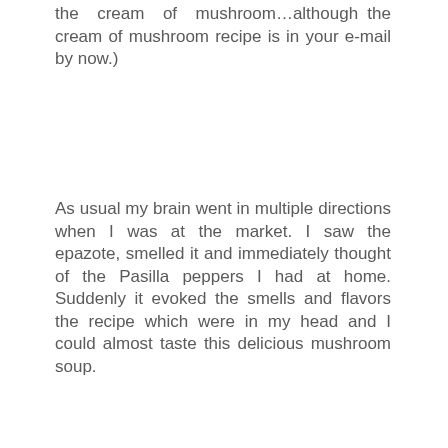the cream of mushroom…although the cream of mushroom recipe is in your e-mail by now.)
As usual my brain went in multiple directions when I was at the market. I saw the epazote, smelled it and immediately thought of the Pasilla peppers I had at home. Suddenly it evoked the smells and flavors the recipe which were in my head and I could almost taste this delicious mushroom soup.
As you can see it has nothing to do with the cream of mushrooms I had plan to made, but I have to say that when I trust my instincts and let go, a wonderful recipe arises. I think when the soup was ready, it knock me down it tasted so good and it is so easy to make.